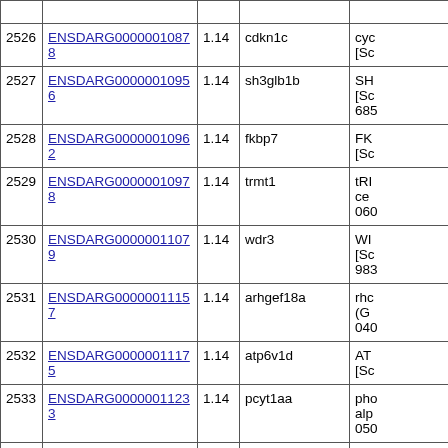|  |  |  |  |  |
| --- | --- | --- | --- | --- |
| 2526 | ENSDARG00000010878 | 1.14 | cdkn1c | cyc
[Sc |
| 2527 | ENSDARG00000010956 | 1.14 | sh3glb1b | SH
[Sc
685 |
| 2528 | ENSDARG00000010962 | 1.14 | fkbp7 | FK
[Sc |
| 2529 | ENSDARG00000010978 | 1.14 | trmt1 | tRI
ce
060 |
| 2530 | ENSDARG00000011079 | 1.14 | wdr3 | WI
[Sc
983 |
| 2531 | ENSDARG00000011157 | 1.14 | arhgef18a | rhc
(G
040 |
| 2532 | ENSDARG00000011175 | 1.14 | atp6v1d | AT
[Sc |
| 2533 | ENSDARG00000011233 | 1.14 | pcyt1aa | pho
alp
050 |
|  |  |  |  | epi |